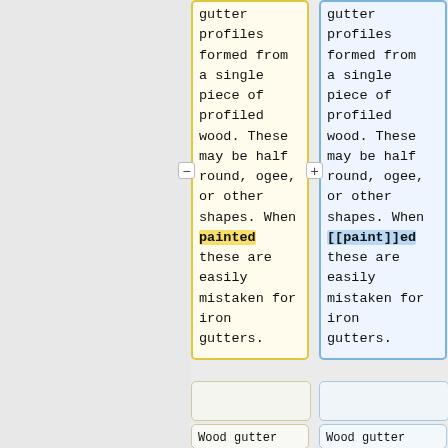gutter profiles formed from a single piece of profiled wood. These may be half round, ogee, or other shapes. When painted these are easily mistaken for iron gutters.
gutter profiles formed from a single piece of profiled wood. These may be half round, ogee, or other shapes. When [[paint]]ed these are easily mistaken for iron gutters.
Wood gutter is
Wood gutter is